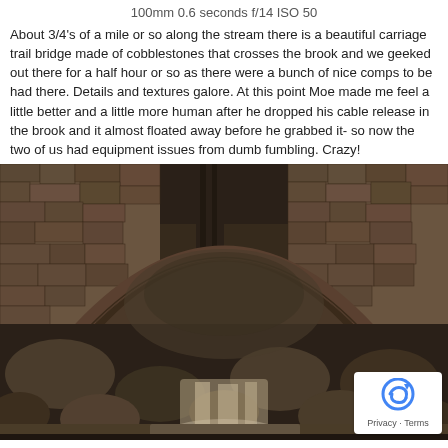100mm 0.6 seconds f/14 ISO 50
About 3/4's of a mile or so along the stream there is a beautiful carriage trail bridge made of cobblestones that crosses the brook and we geeked out there for a half hour or so as there were a bunch of nice comps to be had there. Details and textures galore. At this point Moe made me feel a little better and a little more human after he dropped his cable release in the brook and it almost floated away before he grabbed it- so now the two of us had equipment issues from dumb fumbling. Crazy!
[Figure (photo): Sepia-toned photograph of a historic cobblestone arch bridge over a rocky stream with flowing water in the foreground and trees in the background]